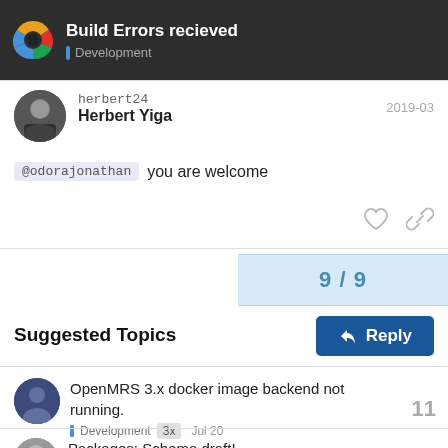Build Errors recieved — Development
herbert24 Herbert Yiga 2019-03
@odorajonathan you are welcome
9 / 9
Reply
Suggested Topics
OpenMRS 3.x docker image backend not running. Development 3x Jul 20 11
Packages: Schema draft! 1